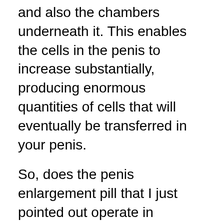and also the chambers underneath it. This enables the cells in the penis to increase substantially, producing enormous quantities of cells that will eventually be transferred in your penis.
So, does the penis enlargement pill that I just pointed out operate in reverse? Well, not directly, yet it most definitely goes back to the concept that if you want to make your tiny gains permanent, you’re mosting likely to have to work at it. You see, the additional blood that is being pumped right into your penis during the penis pump session will eventually enter your bloodstream. This benefits enhancing your flow and general health, but because it is not something that is permanent it will take a while before you